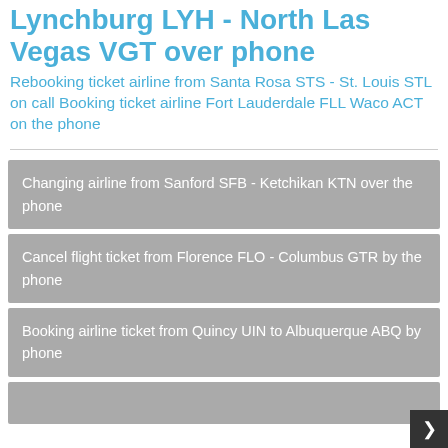Lynchburg LYH - North Las Vegas VGT over phone
Rebooking ticket airline from Santa Rosa STS - St. Louis STL on call Booking ticket airline Fort Lauderdale FLL Waco ACT on the phone
Changing airline from Sanford SFB - Ketchikan KTN over the phone
Cancel flight ticket from Florence FLO - Columbus GTR by the phone
Booking airline ticket from Quincy UIN to Albuquerque ABQ by phone